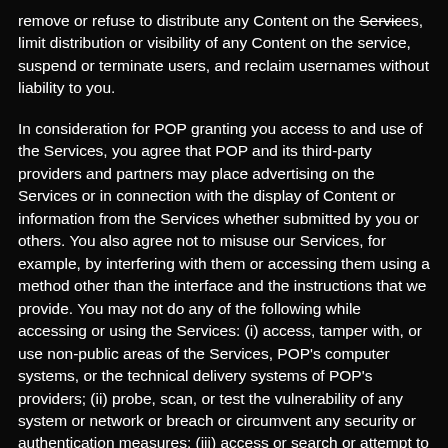remove or refuse to distribute any Content on the Services, limit distribution or visibility of any Content on the service, suspend or terminate users, and reclaim usernames without liability to you.
In consideration for POP granting you access to and use of the Services, you agree that POP and its third-party providers and partners may place advertising on the Services or in connection with the display of Content or information from the Services whether submitted by you or others. You also agree not to misuse our Services, for example, by interfering with them or accessing them using a method other than the interface and the instructions that we provide. You may not do any of the following while accessing or using the Services: (i) access, tamper with, or use non-public areas of the Services, POP's computer systems, or the technical delivery systems of POP's providers; (ii) probe, scan, or test the vulnerability of any system or network or breach or circumvent any security or authentication measures; (iii) access or search or attempt to access or search the Services by any means (automated or otherwise) other than through our currently available, published interfaces that are provided by POP (and only pursuant to the